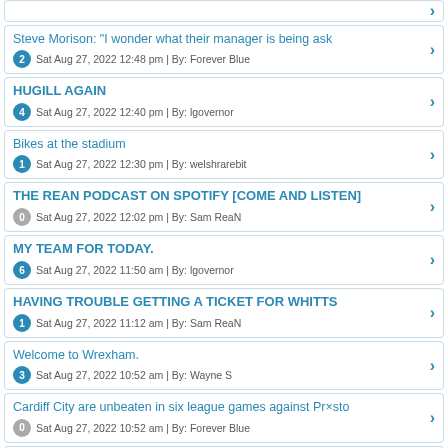Steve Morison: "I wonder what their manager is being ask
Sat Aug 27, 2022 12:48 pm | By: Forever Blue
HUGILL AGAIN
Sat Aug 27, 2022 12:40 pm | By: lgovernor
Bikes at the stadium
Sat Aug 27, 2022 12:30 pm | By: welshrarebit
THE REAN PODCAST ON SPOTIFY [COME AND LISTEN]
Sat Aug 27, 2022 12:02 pm | By: Sam ReaN
MY TEAM FOR TODAY.
Sat Aug 27, 2022 11:50 am | By: lgovernor
HAVING TROUBLE GETTING A TICKET FOR WHITTS
Sat Aug 27, 2022 11:12 am | By: Sam ReaN
Welcome to Wrexham.
Sat Aug 27, 2022 10:52 am | By: Wayne S
Cardiff City are unbeaten in six league games against Pr×sto
Sat Aug 27, 2022 10:52 am | By: Forever Blue
What are the latest odds? Cardiff - 9/5 Draw - 19/10 Pres